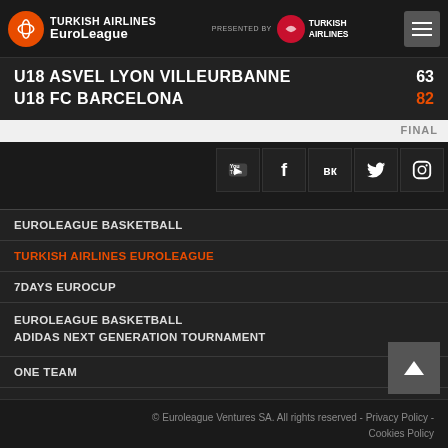TURKISH AIRLINES EuroLeague | PRESENTED BY TURKISH AIRLINES
U18 ASVEL LYON VILLEURBANNE 63
U18 FC BARCELONA 82
FINAL
EUROLEAGUE BASKETBALL
TURKISH AIRLINES EUROLEAGUE
7DAYS EUROCUP
EUROLEAGUE BASKETBALL
ADIDAS NEXT GENERATION TOURNAMENT
ONE TEAM
EB INSTITUTE
© Euroleague Ventures SA. All rights reserved - Privacy Policy - Cookies Policy